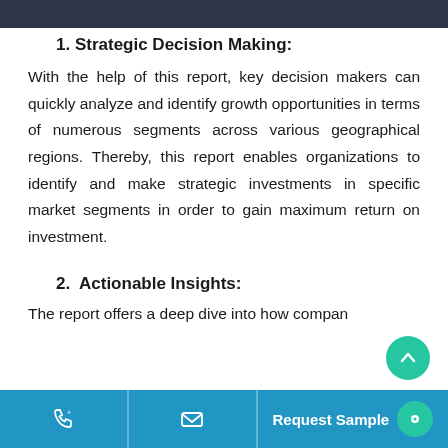1. Strategic Decision Making:
With the help of this report, key decision makers can quickly analyze and identify growth opportunities in terms of numerous segments across various geographical regions. Thereby, this report enables organizations to identify and make strategic investments in specific market segments in order to gain maximum return on investment.
2.  Actionable Insights:
The report offers a deep dive into how compan
Request Sample